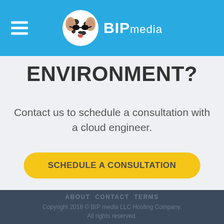BIPmedia
ENVIRONMENT?
Contact us to schedule a consultation with a cloud engineer.
SCHEDULE A CONSULTATION
ABOUT   CONTACT   TERMS
Copyright 2018 © BIP media LLC Hosting Company. All rights reserved.